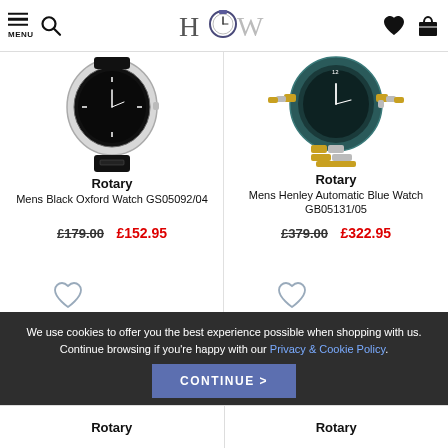HOW — header navigation with menu, search, heart, and bag icons
[Figure (photo): Rotary Mens Black Oxford Watch GS05092/04 — watch with black strap, top portion cropped]
Rotary
Mens Black Oxford Watch GS05092/04
£179.00  £152.95
[Figure (photo): Rotary Mens Henley Automatic Blue Watch GB05131/05 — watch with gold-silver bracelet, top portion cropped]
Rotary
Mens Henley Automatic Blue Watch GB05131/05
£379.00  £322.95
We use cookies to offer you the best experience possible when shopping with us. Continue browsing if you're happy with our Privacy & Cookie Policy.
CONTINUE >
Rotary
Rotary